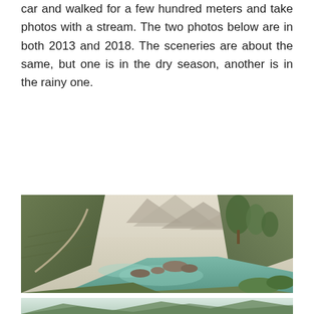car and walked for a few hundred meters and take photos with a stream. The two photos below are in both 2013 and 2018. The sceneries are about the same, but one is in the dry season, another is in the rainy one.
[Figure (photo): A mountain river scene with green water, scattered rocks, lush green vegetation on the banks, mountain ridges in the misty background, and a winding road visible on the left hillside. A TripAdvisor owl logo circle badge is overlaid at the bottom-left and a Beetrip.net watermark at the bottom-right.]
[Figure (photo): Partial view of another mountain scenery photo (bottom of page), showing green mountains and sky.]